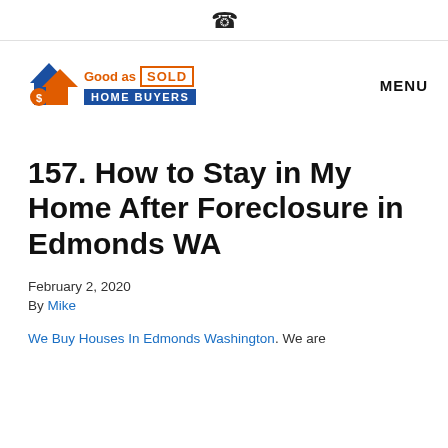📞
[Figure (logo): Good as Sold Home Buyers logo with blue and orange house icon, 'Good as SOLD' text and 'HOME BUYERS' in blue banner. MENU navigation link on right.]
157. How to Stay in My Home After Foreclosure in Edmonds WA
February 2, 2020
By Mike
We Buy Houses In Edmonds Washington. We are